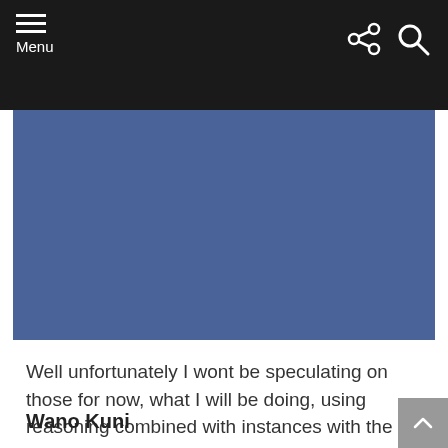Menu
[Figure (other): Blue banner image placeholder area]
Well unfortunately I wont be speculating on those for now, what I will be doing, using reasoning combined with instances with the manga and potential influences as to a new skill or skills he may obtain.
Wano Kuni